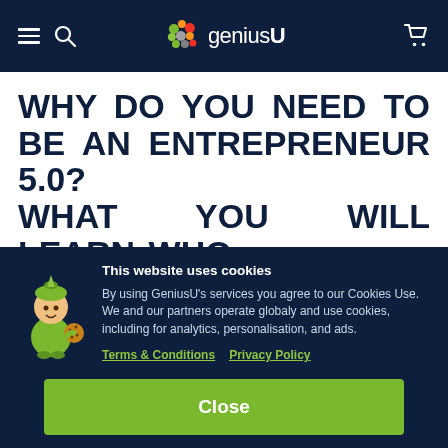geniusU
WHY DO YOU NEED TO BE AN ENTREPRENEUR 5.0? WHAT YOU WILL LEARN WHO
This website uses cookies

By using GeniusU's services you agree to our Cookies Use. We and our partners operate globaly and use cookies, including for analytics, personalisation, and ads.

Terms & Conditions   Privacy Policy
Close